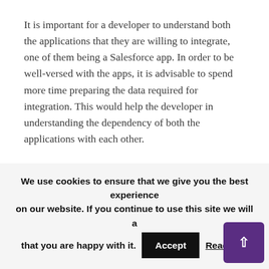It is important for a developer to understand both the applications that they are willing to integrate, one of them being a Salesforce app. In order to be well-versed with the apps, it is advisable to spend more time preparing the data required for integration. This would help the developer in understanding the dependency of both the applications with each other.
It is also important to ensure that both applications have the same data architecture to undertake smooth and seamless integration. Lastly, it is important to make sure that APIs are enabled on both the applications and focus on API limits before going ahead with the integration process. Salesforce Integration is part of
We use cookies to ensure that we give you the best experience on our website. If you continue to use this site we will a that you are happy with it. Accept Read Mor